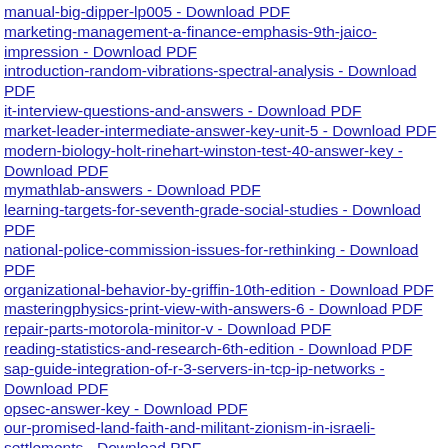manual-big-dipper-lp005 - Download PDF
marketing-management-a-finance-emphasis-9th-jaico-impression - Download PDF
introduction-random-vibrations-spectral-analysis - Download PDF
it-interview-questions-and-answers - Download PDF
market-leader-intermediate-answer-key-unit-5 - Download PDF
modern-biology-holt-rinehart-winston-test-40-answer-key - Download PDF
mymathlab-answers - Download PDF
learning-targets-for-seventh-grade-social-studies - Download PDF
national-police-commission-issues-for-rethinking - Download PDF
organizational-behavior-by-griffin-10th-edition - Download PDF
masteringphysics-print-view-with-answers-6 - Download PDF
repair-parts-motorola-minitor-v - Download PDF
reading-statistics-and-research-6th-edition - Download PDF
sap-guide-integration-of-r-3-servers-in-tcp-ip-networks - Download PDF
opsec-answer-key - Download PDF
our-promised-land-faith-and-militant-zionism-in-israeli-settlements - Download PDF
prestwick-house-answer-keys - Download PDF
news-organizations - Download PDF
odia-calendar-files - Download PDF
optimization-in-the-energy-industry-1st-edition - Download PDF
mind-action-series-natural-science - Download PDF